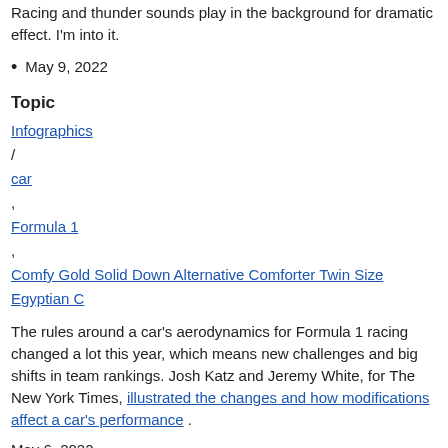Racing and thunder sounds play in the background for dramatic effect. I'm into it.
May 9, 2022
Topic
Infographics / car , Formula 1 , Comfy Gold Solid Down Alternative Comforter Twin Size Egyptian C
The rules around a car's aerodynamics for Formula 1 racing changed a lot this year, which means new challenges and big shifts in team rankings. Josh Katz and Jeremy White, for The New York Times, illustrated the changes and how modifications affect a car's performance .
May 6, 2022